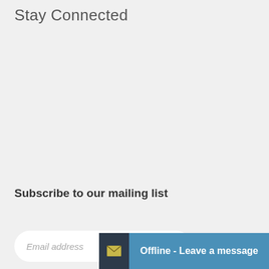Stay Connected
Subscribe to our mailing list
Email address
Offline - Leave a message